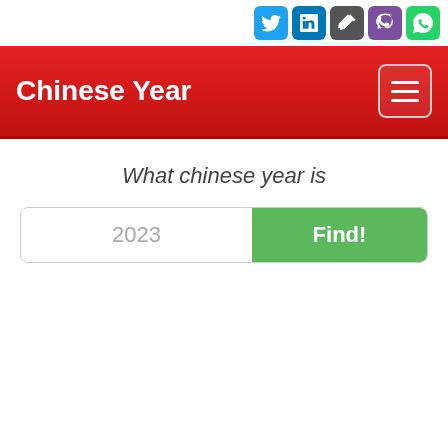[Figure (screenshot): Social media icon buttons row: Twitter (blue bird), LinkedIn (blue), pencil/edit (grey), Viber (purple), WhatsApp (green)]
Chinese Year
What chinese year is
2023
Find!